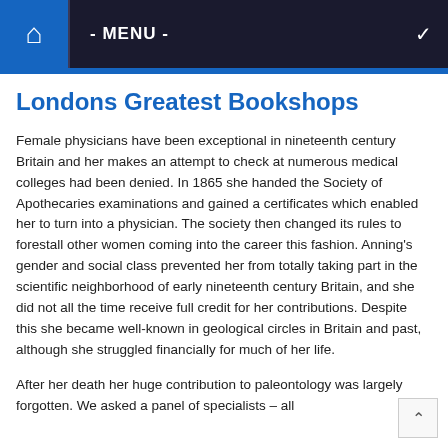- MENU -
Londons Greatest Bookshops
Female physicians have been exceptional in nineteenth century Britain and her makes an attempt to check at numerous medical colleges had been denied. In 1865 she handed the Society of Apothecaries examinations and gained a certificates which enabled her to turn into a physician. The society then changed its rules to forestall other women coming into the career this fashion. Anning's gender and social class prevented her from totally taking part in the scientific neighborhood of early nineteenth century Britain, and she did not all the time receive full credit for her contributions. Despite this she became well-known in geological circles in Britain and past, although she struggled financially for much of her life.
After her death her huge contribution to paleontology was largely forgotten. We asked a panel of specialists – all